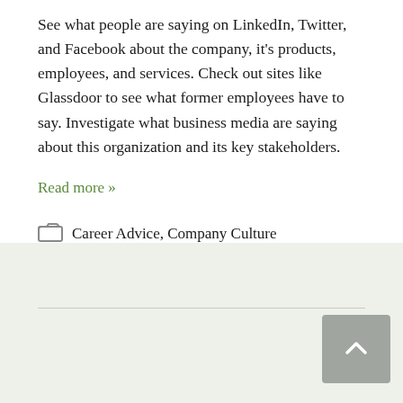See what people are saying on LinkedIn, Twitter, and Facebook about the company, it's products, employees, and services. Check out sites like Glassdoor to see what former employees have to say. Investigate what business media are saying about this organization and its key stakeholders.
Read more »
Career Advice, Company Culture